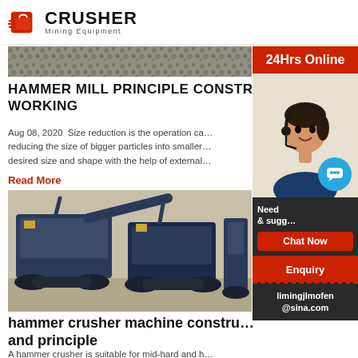CRUSHER Mining Equipment
[Figure (photo): Top image strip showing crushed stone/gravel surface]
HAMMER MILL PRINCIPLE CONSTRUCTION WORKING
Aug 08, 2020  Size reduction is the operation carried out for reducing the size of bigger particles into smaller ones of desired size and shape with the help of external forces.
Read More
[Figure (photo): Large blue industrial hammer crusher machines on tracked undercarriages outdoors]
hammer crusher machine construction and principle
A hammer crusher is suitable for mid-hard and hard materials.
[Figure (illustration): Sidebar: 24Hrs Online banner with customer service representative wearing headset, chat bubble, Need & suggestions, Chat Now button, Enquiry, limingjlmofen@sina.com]